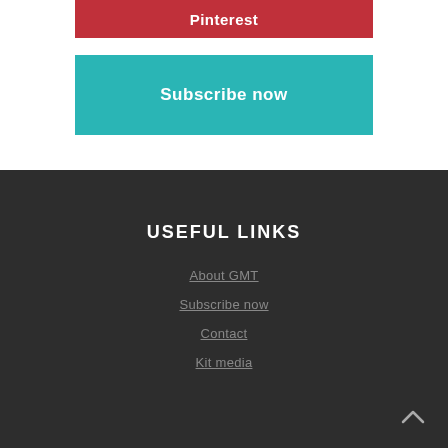Pinterest
Subscribe now
USEFUL LINKS
About GMT
Subscribe now
Contact
Kit media